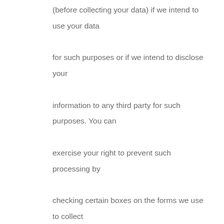(before collecting your data) if we intend to use your data for such purposes or if we intend to disclose your information to any third party for such purposes. You can exercise your right to prevent such processing by checking certain boxes on the forms we use to collect your data. You can also exercise the right at any time by contacting us at [info@upbeatmanagement.com].

Our site may, from time to time, contain links to and from the websites of our partner networks, advertisers and affiliates.  If you follow a link to any of these websites, please note that these websites have their own privacy policies and that we do not accept any responsibility or